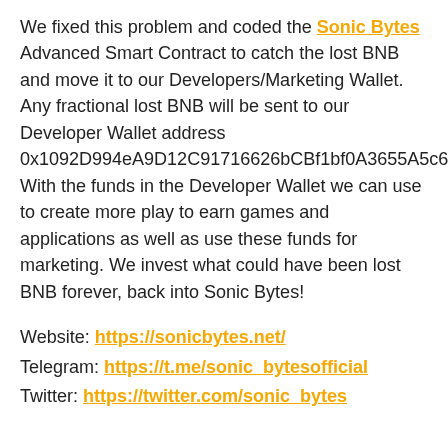We fixed this problem and coded the Sonic Bytes Advanced Smart Contract to catch the lost BNB and move it to our Developers/Marketing Wallet. Any fractional lost BNB will be sent to our Developer Wallet address 0x1092D994eA9D12C91716626bCBf1bf0A3655A5c6. With the funds in the Developer Wallet we can use to create more play to earn games and applications as well as use these funds for marketing. We invest what could have been lost BNB forever, back into Sonic Bytes!
Website: https://sonicbytes.net/
Telegram: https://t.me/sonic_bytesofficial
Twitter: https://twitter.com/sonic_bytes